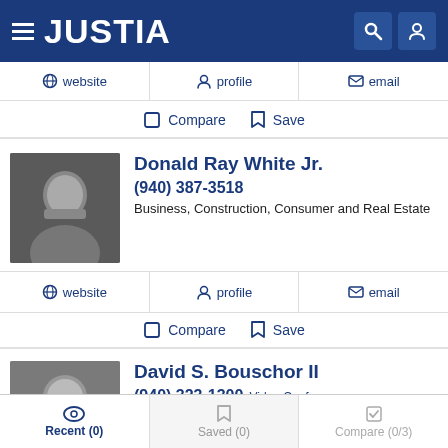JUSTIA
website | profile | email
Compare  Save
Donald Ray White Jr.
(940) 387-3518
Business, Construction, Consumer and Real Estate
website | profile | email
Compare  Save
David S. Bouschor II
(940) 323-1300 Video Conf
Arbitration & Mediation, Divorce, Estate Planning and Family
Recent (0)  Saved (0)  Compare (0/3)